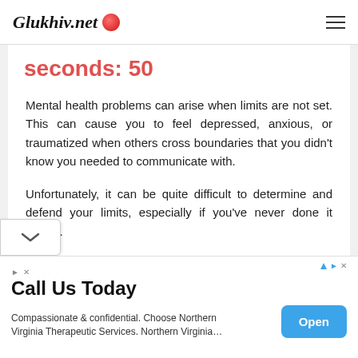Glukhiv.net
seconds: 50
Mental health problems can arise when limits are not set. This can cause you to feel depressed, anxious, or traumatized when others cross boundaries that you didn't know you needed to communicate with.
Unfortunately, it can be quite difficult to determine and defend your limits, especially if you've never done it before.
Call Us Today
Compassionate & confidential. Choose Northern Virginia Therapeutic Services. Northern Virginia...